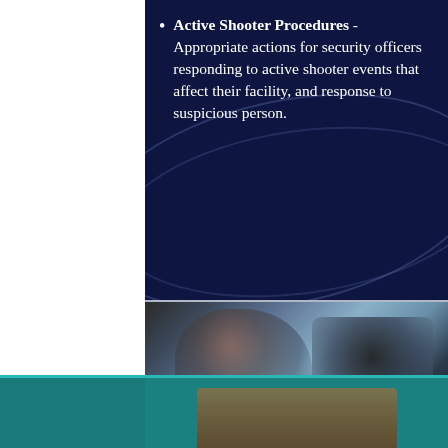Active Shooter Procedures - Appropriate actions for security officers responding to active shooter events that affect their facility, and response to suspicious person.
[Figure (photo): Blurred photograph of a person (security officer) seated at a desk in front of a computer monitor, in a dimly lit environment with blue tones.]
[Figure (photo): Partial view of a teal/green-background panel at the bottom of the page, showing what appears to be educational or training materials.]